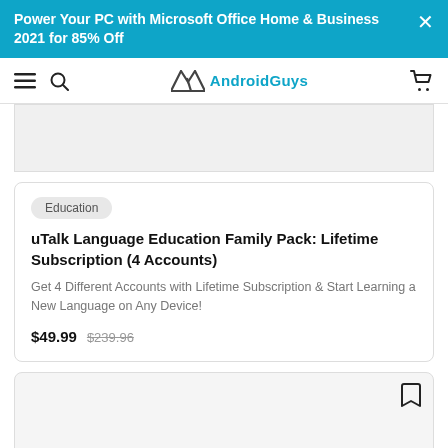Power Your PC with Microsoft Office Home & Business 2021 for 85% Off
[Figure (logo): AndroidGuys site navigation bar with hamburger menu, search icon, AG logo and cart icon]
[Figure (photo): Top portion of a product card image area (gray background, partially visible)]
Education
uTalk Language Education Family Pack: Lifetime Subscription (4 Accounts)
Get 4 Different Accounts with Lifetime Subscription & Start Learning a New Language on Any Device!
$49.99  $239.96
[Figure (photo): Bottom product card image area (gray background, bookmark icon visible at top right)]